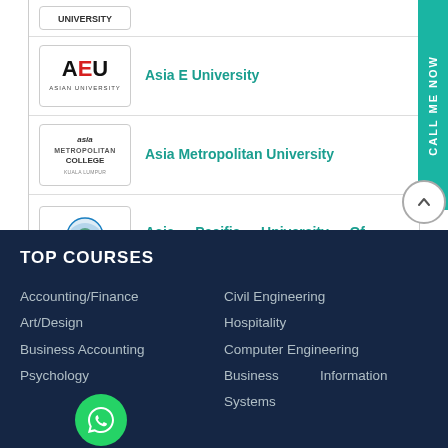[Figure (logo): Partially visible university logo at top]
Asia E University
Asia Metropolitan University
Asia Pacific University Of Technology & Innovation
TOP COURSES
Accounting/Finance
Art/Design
Business Accounting
Psychology
Civil Engineering
Hospitality
Computer Engineering
Business Systems
Information